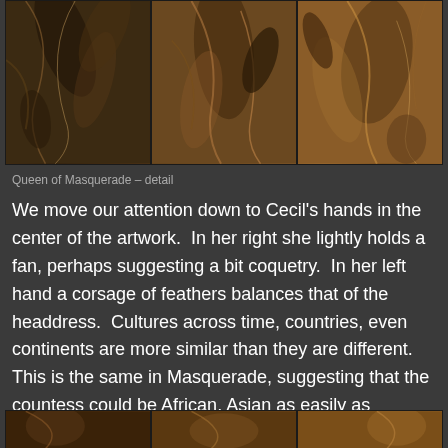[Figure (photo): Three-panel detail photograph of 'Queen of Masquerade' artwork showing close-up of feathers and decorative elements in dark brown and amber tones]
Queen of Masquerade – detail
We move our attention down to Cecil's hands in the center of the artwork.  In her right she lightly holds a fan, perhaps suggesting a bit coquetry.  In her left hand a corsage of feathers balances that of the headdress.  Cultures across time, countries, even continents are more similar than they are different.  This is the same in Masquerade, suggesting that the countess could be African, Asian as easily as European royalty.
[Figure (photo): Partial bottom strip showing additional detail panels of the Queen of Masquerade artwork]